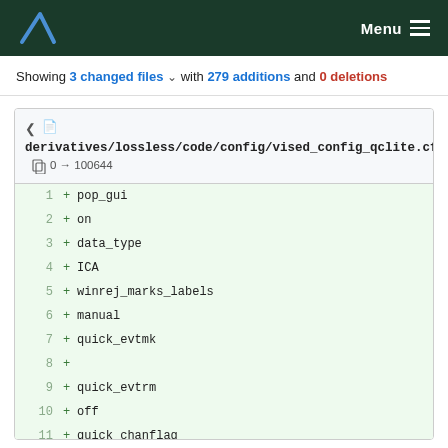Menu
Showing 3 changed files with 279 additions and 0 deletions
derivatives/lossless/code/config/vised_config_qclite.cfg  0 → 100644
1 + pop_gui
2 +     on
3 + data_type
4 +     ICA
5 + winrej_marks_labels
6 +     manual
7 + quick_evtmk
8 +
9 + quick_evtrm
10 +     off
11 + quick_chanflag
12 +     off
13 + chan_marks_struct
14 +